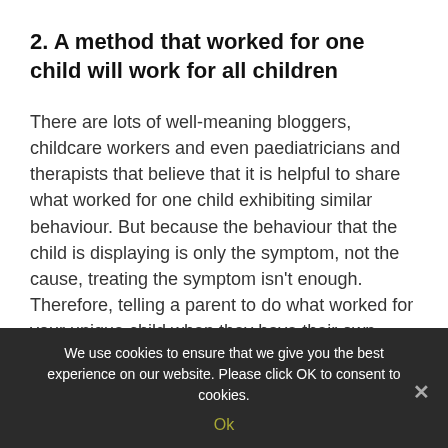2. A method that worked for one child will work for all children
There are lots of well-meaning bloggers, childcare workers and even paediatricians and therapists that believe that it is helpful to share what worked for one child exhibiting similar behaviour. But because the behaviour that the child is displaying is only the symptom, not the cause, treating the symptom isn't enough. Therefore, telling a parent to do what worked for your unique child when they have their own unique child with perhaps a different underlying issue that is merely manifesting in the same behaviour isn't the good advice that you mean it to
We use cookies to ensure that we give you the best experience on our website. Please click OK to consent to cookies.
Ok